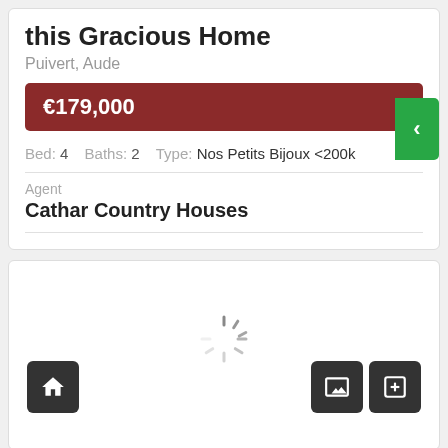this Gracious Home
Puivert, Aude
€179,000
Bed: 4   Baths: 2   Type: Nos Petits Bijoux <200k
Agent
Cathar Country Houses
[Figure (screenshot): Loading spinner with home icon button on left and image/add buttons on right, inside a property listing card]